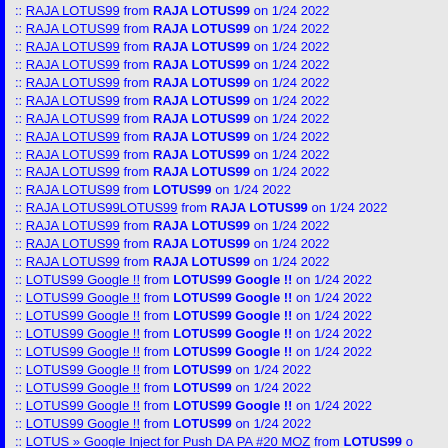:: RAJA LOTUS99 from RAJA LOTUS99 on 1/24 2022
:: RAJA LOTUS99 from RAJA LOTUS99 on 1/24 2022
:: RAJA LOTUS99 from RAJA LOTUS99 on 1/24 2022
:: RAJA LOTUS99 from RAJA LOTUS99 on 1/24 2022
:: RAJA LOTUS99 from RAJA LOTUS99 on 1/24 2022
:: RAJA LOTUS99 from RAJA LOTUS99 on 1/24 2022
:: RAJA LOTUS99 from RAJA LOTUS99 on 1/24 2022
:: RAJA LOTUS99 from RAJA LOTUS99 on 1/24 2022
:: RAJA LOTUS99 from RAJA LOTUS99 on 1/24 2022
:: RAJA LOTUS99 from RAJA LOTUS99 on 1/24 2022
:: RAJA LOTUS99 from LOTUS99 on 1/24 2022
:: RAJA LOTUS99LOTUS99 from RAJA LOTUS99 on 1/24 2022
:: RAJA LOTUS99 from RAJA LOTUS99 on 1/24 2022
:: RAJA LOTUS99 from RAJA LOTUS99 on 1/24 2022
:: RAJA LOTUS99 from RAJA LOTUS99 on 1/24 2022
:: LOTUS99 Google !! from LOTUS99 Google !! on 1/24 2022
:: LOTUS99 Google !! from LOTUS99 Google !! on 1/24 2022
:: LOTUS99 Google !! from LOTUS99 Google !! on 1/24 2022
:: LOTUS99 Google !! from LOTUS99 Google !! on 1/24 2022
:: LOTUS99 Google !! from LOTUS99 Google !! on 1/24 2022
:: LOTUS99 Google !! from LOTUS99 on 1/24 2022
:: LOTUS99 Google !! from LOTUS99 on 1/24 2022
:: LOTUS99 Google !! from LOTUS99 Google !! on 1/24 2022
:: LOTUS99 Google !! from LOTUS99 on 1/24 2022
:: LOTUS » Google Inject for Push DA PA #20 MOZ from LOTUS99 o
:: LOTUS » Google Inject for Push DA PA #19 MOZ from LOTUS99 o
:: LOTUS » Google Inject for Push DA PA #18 MOZ from LOTUS5a6
:: LOTUS » Google Inject for Push DA PA #17 MOZ from LOTUS99 o
:: LOTUS » Google Inject for Push DA PA #16 MOZ from LOTUS99 o
:: LOTUS » Google Inject for Push DA PA #15 MOZ from LOTUSa4d
:: LOTUS » Google Inject for Push DA PA #14 MOZ from LOTUS99